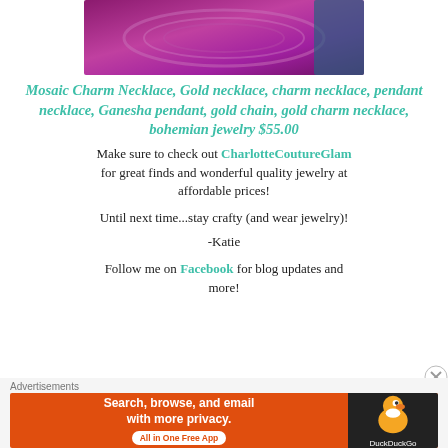[Figure (photo): Photo of a purple/magenta knitted infinity scarf or cowl, partially cropped at top]
Mosaic Charm Necklace, Gold necklace, charm necklace, pendant necklace, Ganesha pendant, gold chain, gold charm necklace, bohemian jewelry $55.00
Make sure to check out CharlotteCoutureGlam for great finds and wonderful quality jewelry at affordable prices!
Until next time...stay crafty (and wear jewelry)!
-Katie
Follow me on Facebook for blog updates and more!
Advertisements
[Figure (screenshot): DuckDuckGo advertisement banner: 'Search, browse, and email with more privacy. All in One Free App' with DuckDuckGo duck logo on dark right side]